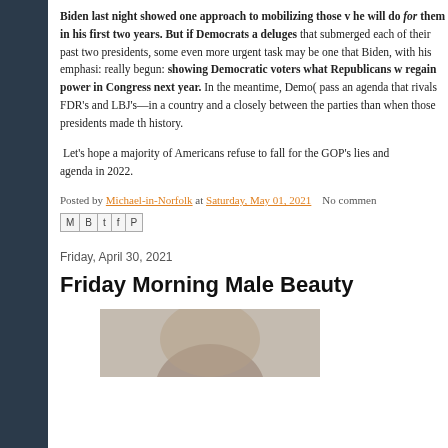Biden last night showed one approach to mobilizing those voters: outlining what he will do for them in his first two years. But if Democrats are to avoid the deluges that submerged each of their past two presidents, sometimes an even more urgent task may be one that Biden, with his emphasis on hope, has barely really begun: showing Democratic voters what Republicans will do if they regain power in Congress next year. In the meantime, Democrats have to try to pass an agenda that rivals FDR's and LBJ's—in a country and a Congress more closely between the parties than when those presidents made their landmark history.
Let's hope a majority of Americans refuse to fall for the GOP's lies and reject their agenda in 2022.
Posted by Michael-in-Norfolk at Saturday, May 01, 2021    No comments:
Friday, April 30, 2021
Friday Morning Male Beauty
[Figure (photo): Bottom portion of a photo showing a person's head/hair against a gray background]